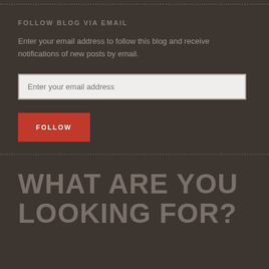FOLLOW BLOG VIA EMAIL
Enter your email address to follow this blog and receive notifications of new posts by email.
Enter your email address
FOLLOW
WHAT ARE YOU LOOKING FOR?